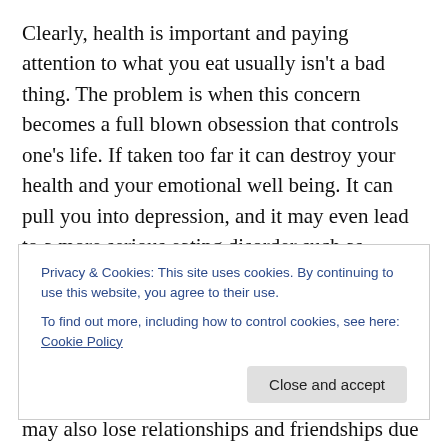Clearly, health is important and paying attention to what you eat usually isn't a bad thing. The problem is when this concern becomes a full blown obsession that controls one's life. If taken too far it can destroy your health and your emotional well being. It can pull you into depression, and it may even lead to a more serious eating disorder such as anorexia nervosa. Someone suffering from orthorexia may miss out on vital nutrients or suffer from malnourishment due to their limited food choices. Their weight may get dangerously low, even if not intentionally. They may also lose relationships and friendships due to
Privacy & Cookies: This site uses cookies. By continuing to use this website, you agree to their use. To find out more, including how to control cookies, see here: Cookie Policy